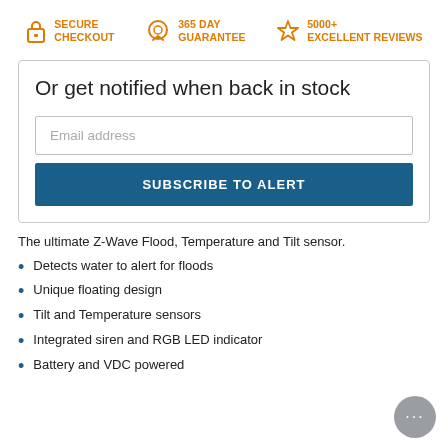[Figure (infographic): Three trust badges in orange: lock icon with SECURE CHECKOUT, medal/ribbon icon with 365 DAY GUARANTEE, star icon with 5000+ EXCELLENT REVIEWS]
Or get notified when back in stock
Email address
SUBSCRIBE TO ALERT
The ultimate Z-Wave Flood, Temperature and Tilt sensor.
Detects water to alert for floods
Unique floating design
Tilt and Temperature sensors
Integrated siren and RGB LED indicator
Battery and VDC powered